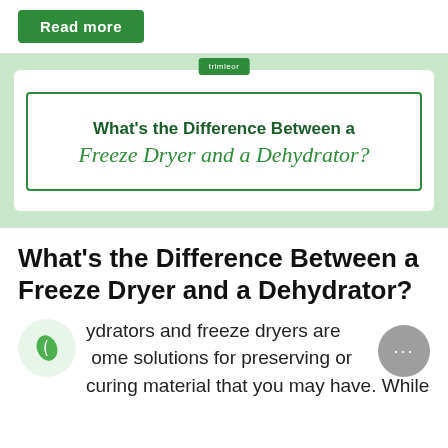[Figure (other): Green 'Read more' button]
[Figure (illustration): Article thumbnail card with green background, inner white card with green border, small green logo badge at top center, bold text 'What's the Difference Between a Freeze Dryer and a Dehydrator?' with script italic second line in green]
What's the Difference Between a Freeze Dryer and a Dehydrator?
ydrators and freeze dryers are ome solutions for preserving or curing material that you may have. While